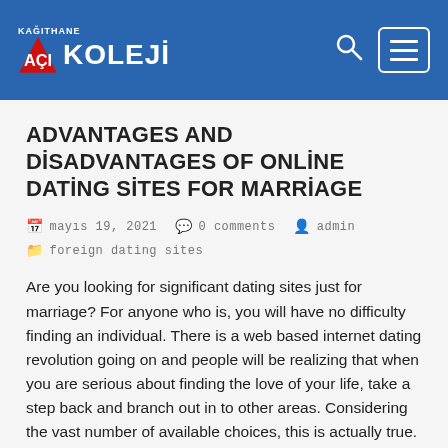KAĞITHANE AÇI KOLEJİ
ADVANTAGES AND DİSADVANTAGES OF ONLİNE DATİNG SİTES FOR MARRİAGE
mayıs 19, 2021   0 comments   admin   foreign dating sites
Are you looking for significant dating sites just for marriage? For anyone who is, you will have no difficulty finding an individual. There is a web based internet dating revolution going on and people will be realizing that when you are serious about finding the love of your life, take a step back and branch out in to other areas. Considering the vast number of available choices, this is actually true. That is why